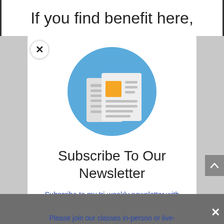If you find benefit here,
[Figure (illustration): Newsletter icon: a blue circle containing a stylized newspaper with an orange square accent and gray text lines]
Subscribe To Our Newsletter
Subscribe to my tri-weekly newsletter with Dhamma Class topics, class and retreat schedule, and updates on new Dhamma articles and audio and video recordings.
Share This
Please join our classes in-person or live-